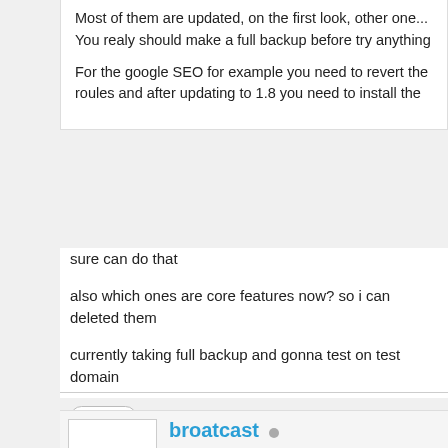Most of them are updated, on the first look, other one... You realy should make a full backup before try anything
For the google SEO for example you need to revert the roules and after updating to 1.8 you need to install the
sure can do that
also which ones are core features now? so i can deleted them
currently taking full backup and gonna test on test domain
[Figure (other): Find button with magnifying glass icon]
broatcast